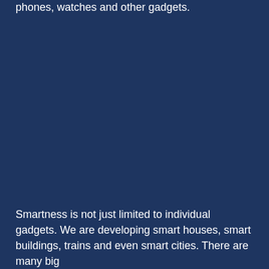phones, watches and other gadgets.
Smartness is not just limited to individual gadgets. We are developing smart houses, smart buildings, trains and even smart cities. There are many big